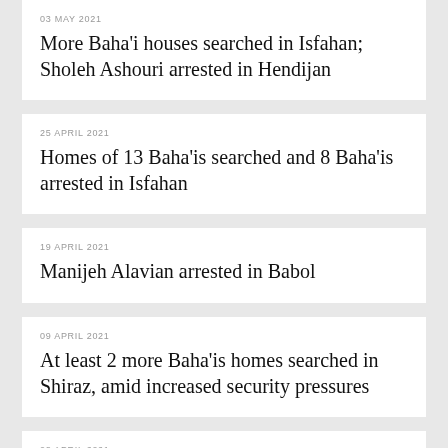03 MAY 2021
More Baha'i houses searched in Isfahan; Sholeh Ashouri arrested in Hendijan
25 APRIL 2021
Homes of 13 Baha'is searched and 8 Baha'is arrested in Isfahan
19 APRIL 2021
Manijeh Alavian arrested in Babol
09 APRIL 2021
At least 2 more Baha'is homes searched in Shiraz, amid increased security pressures
08 APRIL 2021
William Momtazian's home in Shiraz searched